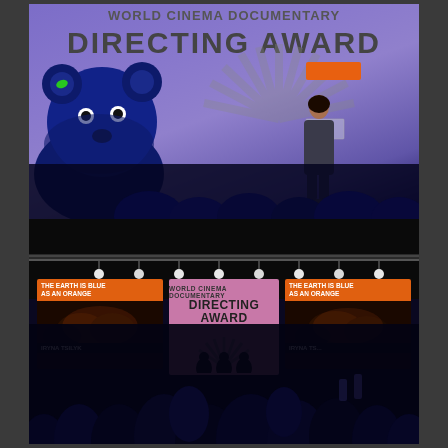[Figure (photo): Top photo: Award ceremony stage with purple background showing 'WORLD CINEMA DOCUMENTARY DIRECTING AWARD' text. A large blue bear mascot costume is visible on the left, and a presenter stands at a podium on stage holding an orange card. A Sundance sunburst logo is projected behind the presenter.]
[Figure (photo): Bottom photo: Wide shot of award ceremony venue with stage lighting rig visible at top. Three screens are shown on stage: two side screens showing 'THE EARTH IS BLUE AS AN ORANGE' with 'IRYNA TSILYK' text and film images, and a center screen showing 'WORLD CINEMA DOCUMENTARY DIRECTING AWARD'. A crowd of audience members' silhouettes are visible in the foreground.]